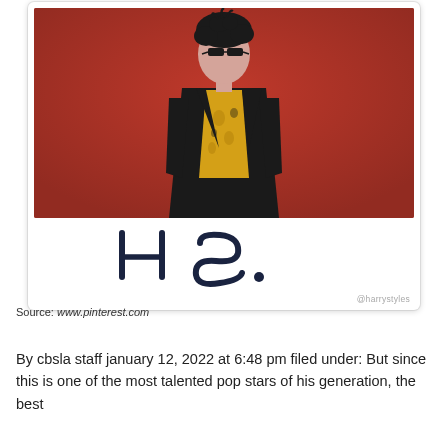[Figure (photo): Polaroid-style photo card showing a person wearing sunglasses, a black blazer over a yellow floral shirt, standing against a red background. Below the photo is a handwritten-style 'H S.' logo. Instagram handle @harrystyles in gray at bottom right.]
Source: www.pinterest.com
By cbsla staff january 12, 2022 at 6:48 pm filed under: But since this is one of the most talented pop stars of his generation, the best